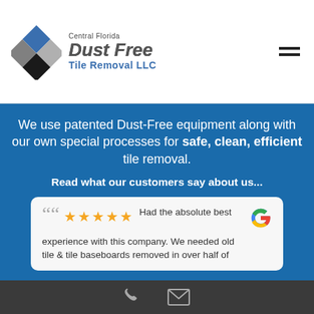[Figure (logo): Central Florida Dust Free Tile Removal LLC logo with diamond-shaped icon in blue, gray, and black, and metallic text]
We use patented Dust-Free equipment along with our own special processes for safe, clean, efficient tile removal.
Read what our customers say about us...
Had the absolute best experience with this company. We needed old tile & tile baseboards removed in over half of
Phone and email contact icons